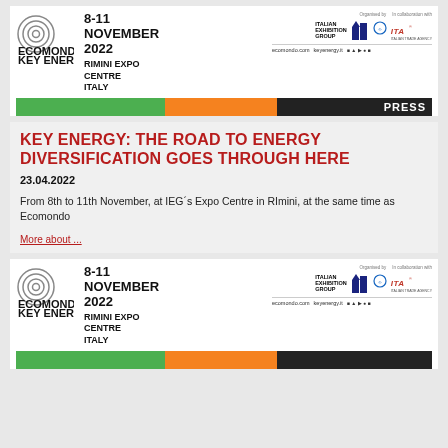[Figure (logo): Ecomondo Key Energy 2022 event banner with logo, date 8-11 November 2022, Rimini Expo Centre Italy, sponsor logos (Italian Exhibition Group, ITA), websites ecomondo.com and keyenergy.it, social icons, and PRESS label with green/orange/black color bars]
KEY ENERGY: THE ROAD TO ENERGY DIVERSIFICATION GOES THROUGH HERE
23.04.2022
From 8th to 11th November, at IEG´s Expo Centre in RImini, at the same time as Ecomondo
More about ...
[Figure (logo): Second Ecomondo Key Energy 2022 banner showing logo, date 8-11 November 2022, Rimini Expo Centre Italy, sponsor logos, and websites ecomondo.com and keyenergy.it with social icons]